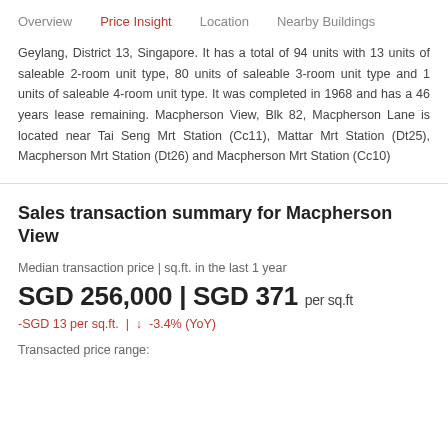Overview  Price Insight  Location  Nearby Buildings
Geylang, District 13, Singapore. It has a total of 94 units with 13 units of saleable 2-room unit type, 80 units of saleable 3-room unit type and 1 units of saleable 4-room unit type. It was completed in 1968 and has a 46 years lease remaining. Macpherson View, Blk 82, Macpherson Lane is located near Tai Seng Mrt Station (Cc11), Mattar Mrt Station (Dt25), Macpherson Mrt Station (Dt26) and Macpherson Mrt Station (Cc10)
Sales transaction summary for Macpherson View
Median transaction price | sq.ft. in the last 1 year
SGD 256,000 | SGD 371 per sq.ft
-SGD 13 per sq.ft.  |  ↓  -3.4% (YoY)
Transacted price range: